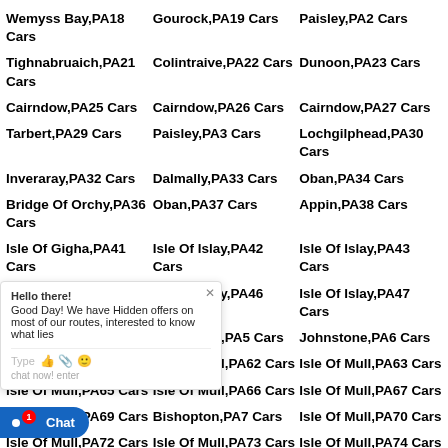Wemyss Bay,PA18 Cars
Gourock,PA19 Cars
Paisley,PA2 Cars
Tighnabruaich,PA21 Cars
Colintraive,PA22 Cars
Dunoon,PA23 Cars
Cairndow,PA25 Cars
Cairndow,PA26 Cars
Cairndow,PA27 Cars
Tarbert,PA29 Cars
Paisley,PA3 Cars
Lochgilphead,PA30 Cars
Inveraray,PA32 Cars
Dalmally,PA33 Cars
Oban,PA34 Cars
Bridge Of Orchy,PA36 Cars
Oban,PA37 Cars
Appin,PA38 Cars
Isle Of Gigha,PA41 Cars
Isle Of Islay,PA42 Cars
Isle Of Islay,PA43 Cars
Isle Of Islay,PA45 Cars
Isle Of Islay,PA46 Cars
Isle Of Islay,PA47 Cars
Isle Of Mull,PA61 Cars
Johnstone,PA5 Cars
Johnstone,PA6 Cars
Isle Of Mull,PA61 Cars
Isle Of Mull,PA62 Cars
Isle Of Mull,PA63 Cars
Isle Of Mull,PA65 Cars
Isle Of Mull,PA66 Cars
Isle Of Mull,PA67 Cars
Isle Of Mull,PA69 Cars
Bishopton,PA7 Cars
Isle Of Mull,PA70 Cars
Isle Of Mull,PA72 Cars
Isle Of Mull,PA73 Cars
Isle Of Mull,PA74 Cars
Isle Of Mull,PA76 Cars
Isle Of Tiree,PA77 Cars
Isle Of Coll,PA78 Cars
Portavadie,PA21 Cars